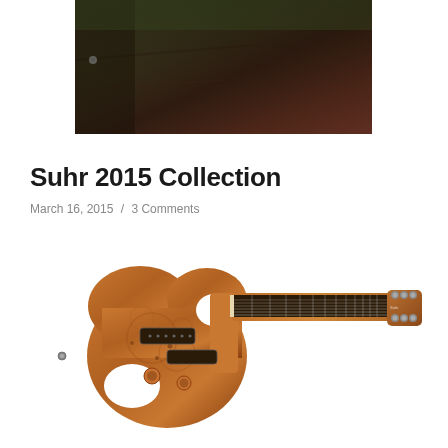[Figure (photo): Close-up photograph of a dark wooden surface, appearing to be guitar body or amplifier, with dark brown tones]
Suhr 2015 Collection
March 16, 2015 / 3 Comments
[Figure (photo): Suhr electric guitar with amber/brown burl wood top, double cutaway body, multiple pickups, long maple neck with dark fretboard, and tuners at headstock]